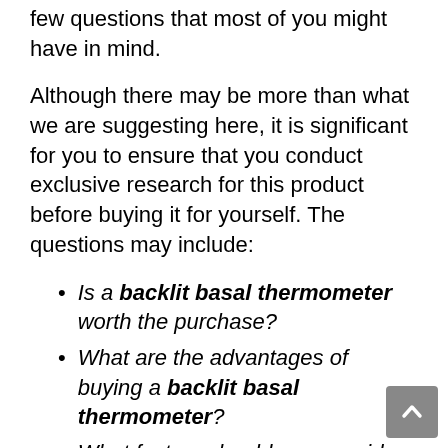few questions that most of you might have in mind.
Although there may be more than what we are suggesting here, it is significant for you to ensure that you conduct exclusive research for this product before buying it for yourself. The questions may include:
Is a backlit basal thermometer worth the purchase?
What are the advantages of buying a backlit basal thermometer?
What factors should you consider before shopping for the best backlit basal thermometer?
Why is it important to invest in a